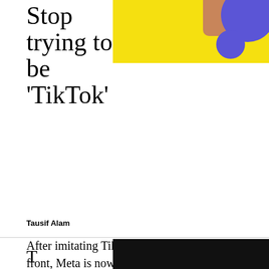[Figure (illustration): Yellow background with blue circles and a hand/person element visible at top right]
Stop trying to be 'TikTok'
Tausif Alam
After imitating TikTok on short videos front, Meta is now aping the rival's recommendations method also.
[Figure (photo): Dark/black image strip at bottom right, partially visible]
T...